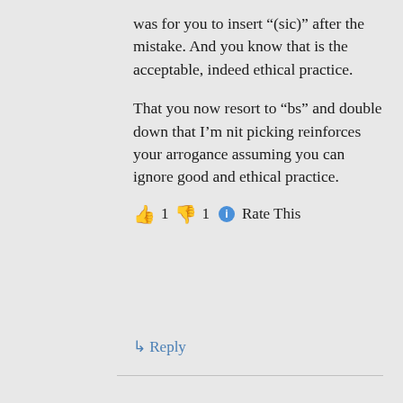was for you to insert “(sic)” after the mistake. And you know that is the acceptable, indeed ethical practice.

That you now resort to “bs” and double down that I’m nit picking reinforces your arrogance assuming you can ignore good and ethical practice.
👍 1 👎 1 ⓘ Rate This
↳ Reply